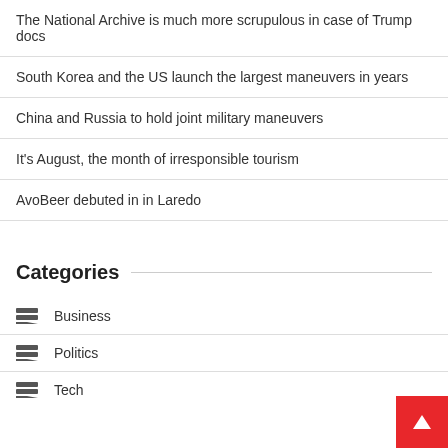The National Archive is much more scrupulous in case of Trump docs
South Korea and the US launch the largest maneuvers in years
China and Russia to hold joint military maneuvers
It's August, the month of irresponsible tourism
AvoBeer debuted in in Laredo
Categories
Business
Politics
Tech